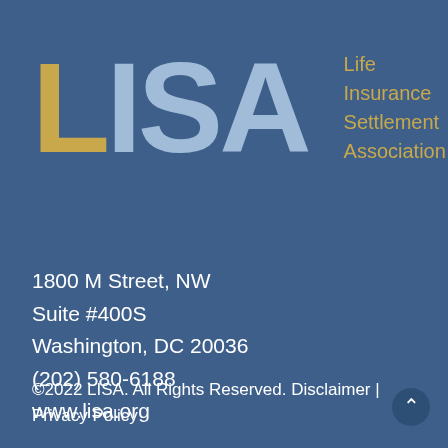[Figure (logo): LISA - Life Insurance Settlement Association logo. Large letters LISA where L is gold/yellow, ISA is light blue, followed by a vertical divider and the full name 'Life Insurance Settlement Association' in gold text on a dark blue background.]
1800 M Street, NW
Suite #400S
Washington, DC 20036
(202) 580-6188
www.lisa.org
©2022 LISA. All Rights Reserved. Disclaimer | Privacy Policy